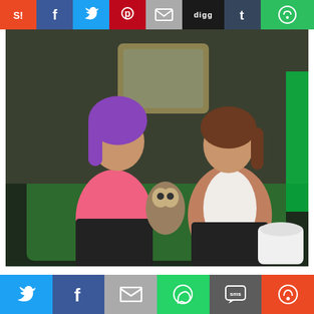[Figure (other): Top social sharing bar with icons: StumbleUpon, Facebook, Twitter, Pinterest, Email, Digg, Tumblr, More]
[Figure (photo): Screenshot from Big Brother 20 TV show showing two women sitting on a green couch. The woman on the left has purple hair and is wearing a pink tank top with black pants. The woman on the right has brown hair and is wearing a pink/mauve cardigan with a white top and black pants. There is a stuffed owl toy between them.]
Tonight we watched as the HGs in the Big Brother 20 house voted to evict either Rockstar. The evictee was then given a chance to get back into the Big Brother thanks to Sam's Bonus Life Power App. Get all the details of tonight's live evictio
[Figure (other): Bottom social sharing bar with icons: Twitter, Facebook, Email, WhatsApp, SMS, More (orange)]